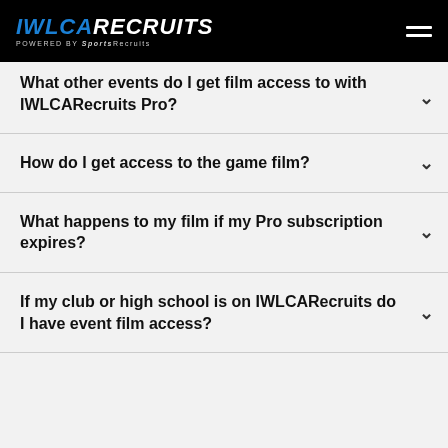IWLCA RECRUITS POWERED BY SportsRecruits
What other events do I get film access to with IWLCARecruits Pro?
How do I get access to the game film?
What happens to my film if my Pro subscription expires?
If my club or high school is on IWLCARecruits do I have event film access?